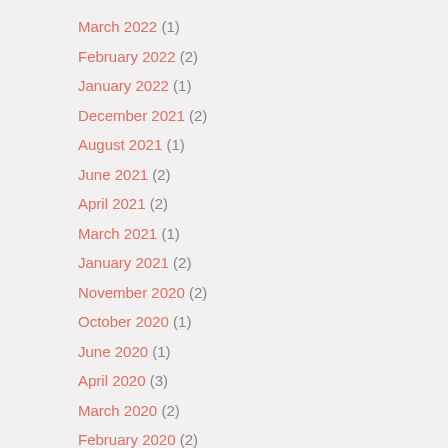March 2022 (1)
February 2022 (2)
January 2022 (1)
December 2021 (2)
August 2021 (1)
June 2021 (2)
April 2021 (2)
March 2021 (1)
January 2021 (2)
November 2020 (2)
October 2020 (1)
June 2020 (1)
April 2020 (3)
March 2020 (2)
February 2020 (2)
September 2019 (1)